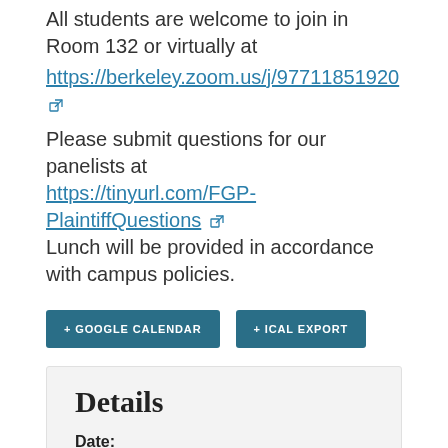All students are welcome to join in Room 132 or virtually at https://berkeley.zoom.us/j/97711851920
Please submit questions for our panelists at https://tinyurl.com/FGP-PlaintiffQuestions Lunch will be provided in accordance with campus policies.
+ GOOGLE CALENDAR  + ICAL EXPORT
Details
Date:
Wednesday, November 3, 2021